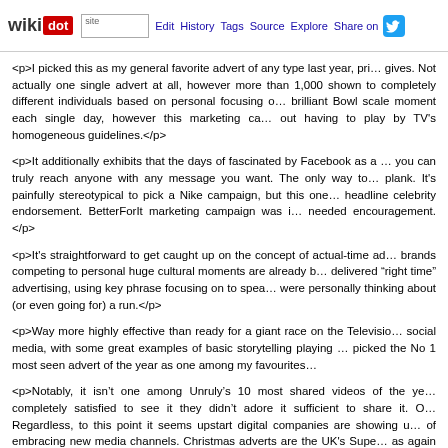wikidot | site | Edit | History | Tags | Source | Explore | Share on Twitter
<p>I picked this as my general favorite advert of any type last year, primarily because of the joy it gives. Not actually one single advert at all, however more than 1,000 unique versions shown to completely different individuals based on personal focusing on. It creates a brilliant Bowl scale moment each single day, however this marketing campaign did so without having to play by TV's homogeneous guidelines.</p>
<p>It additionally exhibits that the days of fascinated by Facebook as a mass medium are over; you can truly reach anyone with any message you want. The only way to walk the walk, not just the plank. It's painfully stereotypical to pick a Nike campaign, but this one doesn't rely on headline celebrity endorsement. BetterForIt marketing campaign was in fact inspirational and needed encouragement.</p>
<p>It's straightforward to get caught up on the concept of actual-time advertising and brands competing to personal huge cultural moments are already being supplanted by delivered "right time" advertising, using key phrase focusing on to speak to people who were personally thinking about (or even going for) a run.</p>
<p>Way more highly effective than ready for a giant race on the Television, it crosses to social media, with some great examples of basic storytelling playing out. Buzzfeed picked the No 1 most seen advert of the year as one among my favourites.</p>
<p>Notably, it isn't one among Unruly's 10 most shared videos of the year, so people were completely satisfied to see it they didn't adore it sufficient to share it. Old Spice rules there. Regardless, to this point it seems upstart digital companies are showing us the true power of embracing new media channels. Christmas adverts are the UK's Super Bowl moment. John Lewis as again proved hard to beat, though the competition is hard this 12 months. John Lewis's maturity and restraint, understanding that they have an ideal piece of storytelling with an underlying social message, and that they don't have to complicate it that...</p>